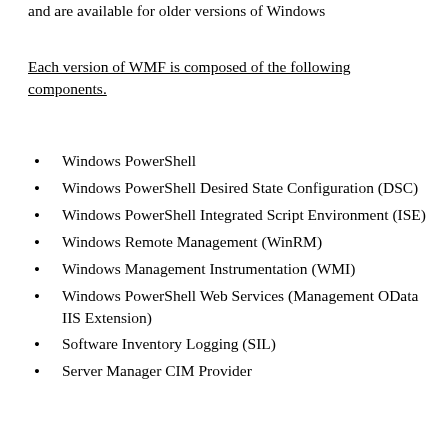and are available for older versions of Windows
Each version of WMF is composed of the following components.
Windows PowerShell
Windows PowerShell Desired State Configuration (DSC)
Windows PowerShell Integrated Script Environment (ISE)
Windows Remote Management (WinRM)
Windows Management Instrumentation (WMI)
Windows PowerShell Web Services (Management OData IIS Extension)
Software Inventory Logging (SIL)
Server Manager CIM Provider